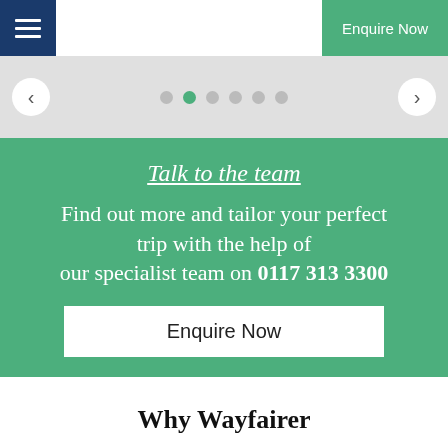Enquire Now
[Figure (screenshot): Slider navigation with left arrow, dot indicators (second dot active/green), and right arrow on a light grey background]
Talk to the team
Find out more and tailor your perfect trip with the help of our specialist team on 0117 313 3300
Enquire Now
Why Wayfairer